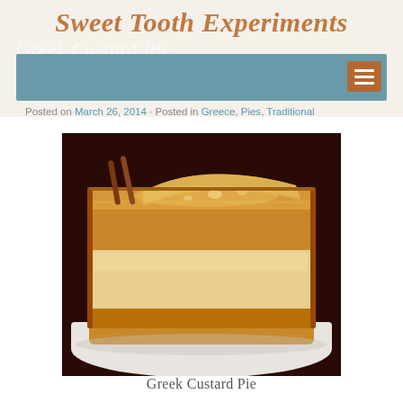Sweet Tooth Experiments
Greek Custard Pie
Posted on March 26, 2014 Posted in Greece, Pies, Traditional
[Figure (photo): A square slice of Greek Custard Pie (Galaktoboureko) on a white plate, showing flaky golden phyllo pastry layers and creamy custard filling, photographed close-up against a warm dark red background.]
Greek Custard Pie